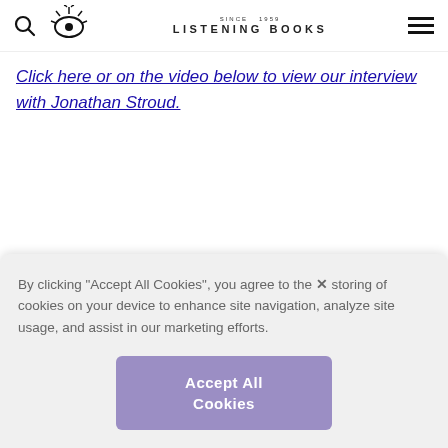Listening Books — site navigation header with search icon, eye logo, brand name, and hamburger menu
Click here or on the video below to view our interview with Jonathan Stroud.
By clicking “Accept All Cookies”, you agree to the storing of cookies on your device to enhance site navigation, analyze site usage, and assist in our marketing efforts.
Accept All Cookies